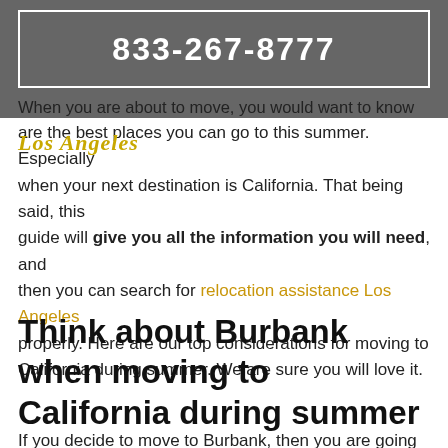833-267-8777
When you are about to move, you would want to know what are the best places you can go to this summer. Especially when your next destination is California. That being said, this guide will give you all the information you will need, and then you can search for relocation assistance Los Angeles properly. Here are our top considerations for moving to California during summer. We are sure you will love it.
Think about Burbank when moving to California during summer
If you decide to move to Burbank, then you are going to be